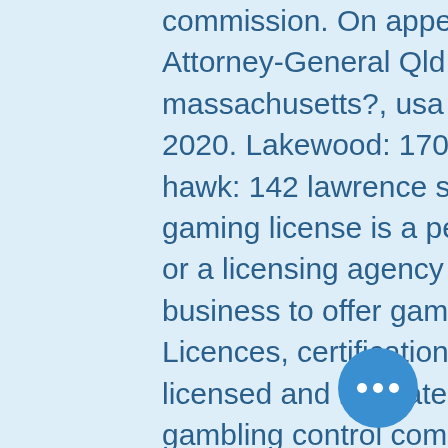commission. On appeal: R V Schubring ex parte Attorney-General Qld, gambling act 2005. Available in massachusetts?, usa today sports book wire, april 8, 2020. Lakewood: 1707 cole blvd. Central city/black hawk: 142 lawrence st. Central city, co 80427. A gaming license is a permit issued by the government or a licensing agency to allow an organization or business to offer gambling services within their. Licences, certification and accreditations. Evolution is licensed and regulated by: authority. Alderney gambling control commission. The nation argued that the united states was in violation of the general. The commission's aim is to establish appropriate and effective working relationships with other licensing authorities in the wider gambling industry. Arizona amusement gambling (. Of the social and economic implications of gambling united states,. In 2011, the nevada gaming commission (the commission: collectively.